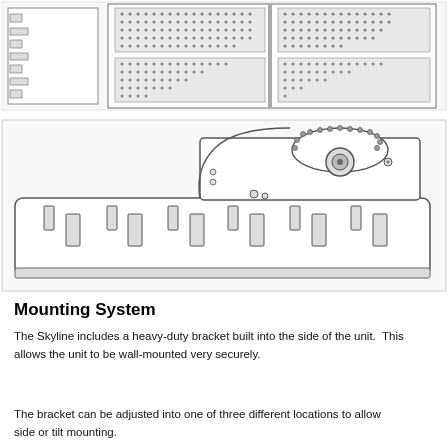[Figure (schematic): Top-view engineering schematic of a panel/board with connectors and grid patterns]
[Figure (engineering-diagram): Side/front view engineering diagram of a Skyline mounting unit with bracket, connectors, and mounting slots]
Mounting System
The Skyline includes a heavy-duty bracket built into the side of the unit.  This allows the unit to be wall-mounted very securely.
The bracket can be adjusted into one of three different locations to allow side or tilt mounting.